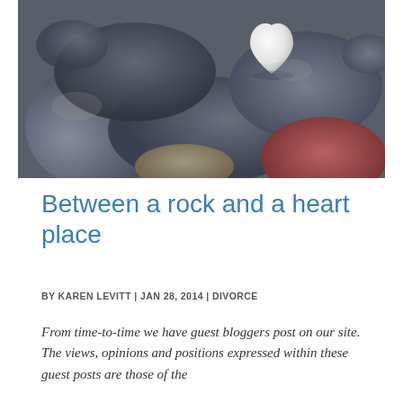[Figure (photo): Close-up photograph of smooth river rocks/pebbles in grey, blue, brown, and reddish tones, with one distinctive white heart-shaped stone in the upper center area.]
Between a rock and a heart place
BY KAREN LEVITT | JAN 28, 2014 | DIVORCE
From time-to-time we have guest bloggers post on our site. The views, opinions and positions expressed within these guest posts are those of the